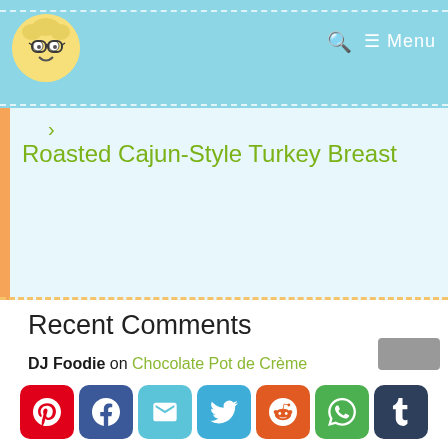Menu
Roasted Cajun-Style Turkey Breast
Recent Comments
DJ Foodie on Chocolate Pot de Crème
DJ Foodie on Baked Spiced Apple Custard
Beth on Baked Spiced Apple Custard
Penny Reveile on Chocolate Pot de Crème
DJ Foodie on Chocolate Pot de Crème